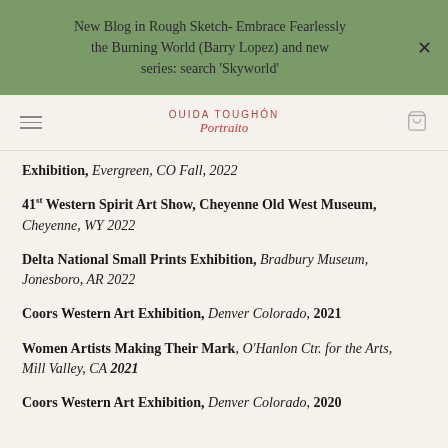New Blog in Rough Sketch- Embrace Fearlessly the Burning World (Barry Lopez) and new series: search 'Skyworld'
[Figure (logo): Ouida Toughon Portraito logo with hamburger menu and cart icon]
Exhibition, Evergreen, CO Fall, 2022
41st Western Spirit Art Show, Cheyenne Old West Museum, Cheyenne, WY 2022
Delta National Small Prints Exhibition, Bradbury Museum, Jonesboro, AR 2022
Coors Western Art Exhibition, Denver Colorado, 2021
Women Artists Making Their Mark, O'Hanlon Ctr. for the Arts, Mill Valley, CA 2021
Coors Western Art Exhibition, Denver Colorado, 2020